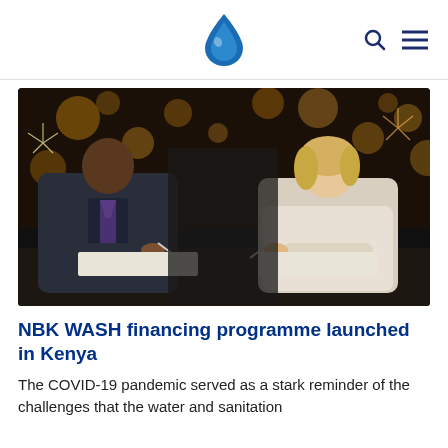Water & Sanitation logo with search and menu icons
[Figure (photo): Two people seated at a table signing documents in front of a dark background with golden bokeh lights and fireworks. A man in a dark suit with a striped tie is on the left, and a woman with blonde hair in a light-colored top is on the right.]
NBK WASH financing programme launched in Kenya
The COVID-19 pandemic served as a stark reminder of the challenges that the water and sanitation